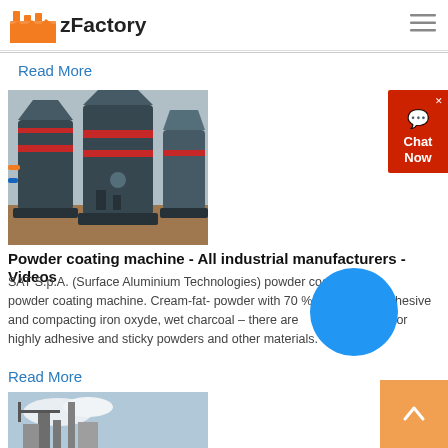zFactory
Read More
[Figure (photo): Industrial powder coating machines in a factory setting — large dark cylindrical grinder/mill machines with red rings, on a factory floor]
Powder coating machine - All industrial manufacturers - Videos
SAT S.p.A. (Surface Aluminium Technologies) powder coating machine. Cream-fat- powder with 70 % fat content, adhesive and compacting iron oxyde, wet charcoal – there are examples for highly adhesive and sticky powders and other materials.
Read More
[Figure (photo): Industrial plant or factory building exterior with cranes and tall structures against a sky background]